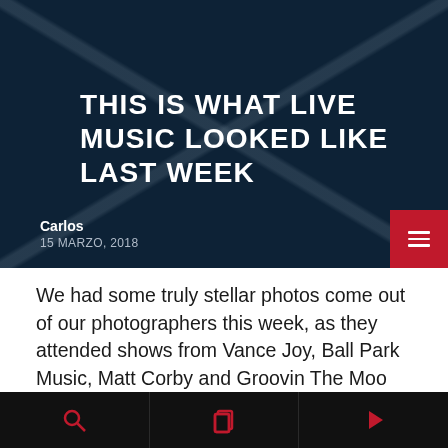[Figure (screenshot): Dark navy blue hero image with diagonal X watermark lines and white uppercase title text 'THIS IS WHAT LIVE MUSIC LOOKED LIKE LAST WEEK']
THIS IS WHAT LIVE MUSIC LOOKED LIKE LAST WEEK
Carlos
15 MARZO, 2018
We had some truly stellar photos come out of our photographers this week, as they attended shows from Vance Joy, Ball Park Music, Matt Corby and Groovin The Moo sideshows, with the common theme being some amazing light shows. As Forbes
Search | Copy | Play navigation icons